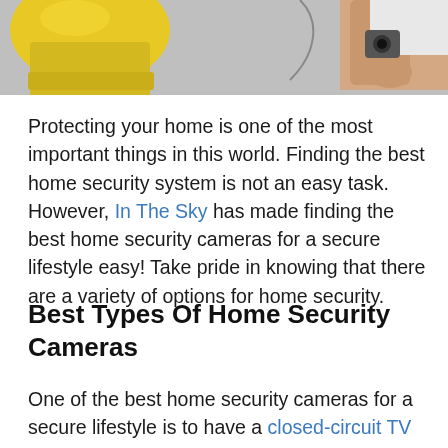[Figure (photo): Partial photo of a person installing a security camera, wearing a yellow hard hat, with a grey wall background. Only the top portion (yellow helmet and arm/hand) is visible, cropped at the bottom.]
Protecting your home is one of the most important things in this world. Finding the best home security system is not an easy task. However, In The Sky has made finding the best home security cameras for a secure lifestyle easy! Take pride in knowing that there are a variety of options for home security.
Best Types Of Home Security Cameras
One of the best home security cameras for a secure lifestyle is to have a closed-circuit TV